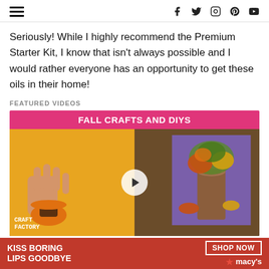Navigation header with hamburger menu and social icons: facebook, twitter, instagram, pinterest, youtube
Seriously! While I highly recommend the Premium Starter Kit, I know that isn't always possible and I would rather everyone has an opportunity to get these oils in their home!
FEATURED VIDEOS
[Figure (screenshot): Video thumbnail for 'Fall Crafts and DIYs' showing craft food items on yellow background on left and a decorative tree stump with fall leaves on right, with a play button in the center. Craft Factory logo in bottom left.]
20 Incredible Fall DIYs And Crafts
CLOSE
[Figure (photo): Advertisement banner: KISS BORING LIPS GOODBYE with a woman's face, SHOP NOW button and Macy's star logo]